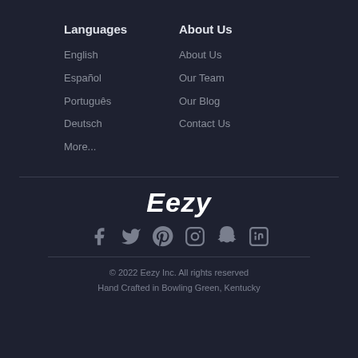Languages
English
Español
Português
Deutsch
More...
About Us
About Us
Our Team
Our Blog
Contact Us
Eezy
[Figure (infographic): Social media icons: Facebook, Twitter, Pinterest, Instagram, Snapchat, LinkedIn]
© 2022 Eezy Inc. All rights reserved
Hand Crafted in Bowling Green, Kentucky